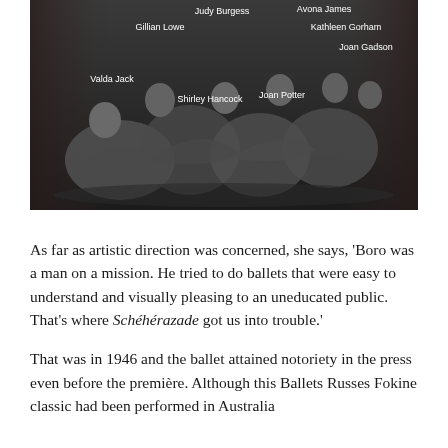[Figure (photo): A black and white image showing a group of ballet dancers in costume, posed together. Overlaid white text labels identify the individuals: Judy Burgess, Avona James, Gillian Lowe, Kathleen Gorham, Joan Gadson, Valda Jack, Shirley Hancock, Joan Potter.]
As far as artistic direction was concerned, she says, 'Boro was a man on a mission. He tried to do ballets that were easy to understand and visually pleasing to an uneducated public. That's where Schéhérazade got us into trouble.'
That was in 1946 and the ballet attained notoriety in the press even before the première. Although this Ballets Russes Fokine classic had been performed in Australia